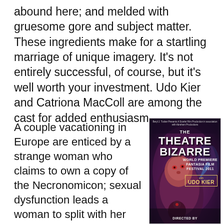abound here; and melded with gruesome gore and subject matter. These ingredients make for a startling marriage of unique imagery. It's not entirely successful, of course, but it's well worth your investment. Udo Kier and Catriona MacColl are among the cast for added enthusiasm.
A couple vacationing in Europe are enticed by a strange woman who claims to own a copy of the Necronomicon; sexual dysfunction leads a woman to split with her husband, only he isn't ready to let go; an abusive husband divulges to a psychologist his
[Figure (photo): Movie poster for 'The Theatre Bizarre' showing a colorful illustrated horror poster with a sinister man in purple/red tones, featuring text: 'WORLD PREMIERE FANTASIA FILM FESTIVAL 2011' and 'with UDO KIER' and 'DIRECTED BY' at the bottom.]